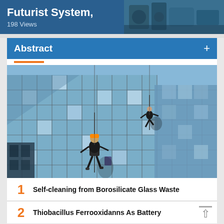Futurist System, 198 Views
Abstract
[Figure (photo): Window cleaners rappelling down the glass facade of a modern high-rise building with blue reflective glass panels.]
1 Self-cleaning from Borosilicate Glass Waste
2 Thiobacillus Ferrooxidanns As Battery